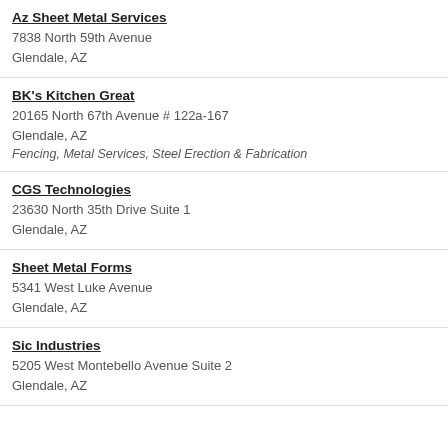Az Sheet Metal Services
7838 North 59th Avenue
Glendale, AZ
BK's Kitchen Great
20165 North 67th Avenue # 122a-167
Glendale, AZ
Fencing, Metal Services, Steel Erection & Fabrication
CGS Technologies
23630 North 35th Drive Suite 1
Glendale, AZ
Sheet Metal Forms
5341 West Luke Avenue
Glendale, AZ
Sic Industries
5205 West Montebello Avenue Suite 2
Glendale, AZ